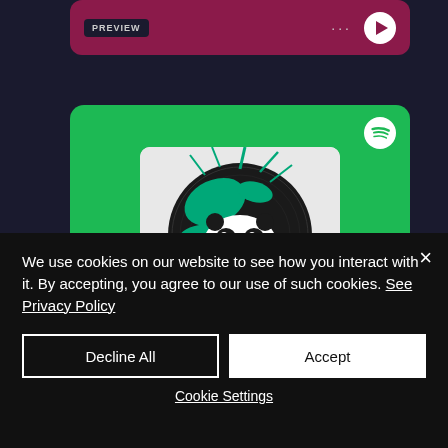[Figure (screenshot): Screenshot of a music streaming interface showing a preview card with dark maroon/crimson background containing a PREVIEW button, dots menu, and play button, followed by a green Spotify-branded card with the Big Tunes Records album art (panda logo with teal splashes on black circular vinyl record design).]
We use cookies on our website to see how you interact with it. By accepting, you agree to our use of such cookies. See Privacy Policy
Decline All
Accept
Cookie Settings